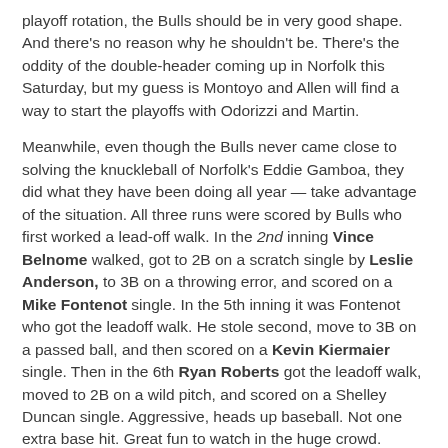playoff rotation, the Bulls should be in very good shape. And there's no reason why he shouldn't be. There's the oddity of the double-header coming up in Norfolk this Saturday, but my guess is Montoyo and Allen will find a way to start the playoffs with Odorizzi and Martin.
Meanwhile, even though the Bulls never came close to solving the knuckleball of Norfolk's Eddie Gamboa, they did what they have been doing all year — take advantage of the situation. All three runs were scored by Bulls who first worked a lead-off walk. In the 2nd inning Vince Belnome walked, got to 2B on a scratch single by Leslie Anderson, to 3B on a throwing error, and scored on a Mike Fontenot single. In the 5th inning it was Fontenot who got the leadoff walk. He stole second, move to 3B on a passed ball, and then scored on a Kevin Kiermaier single. Then in the 6th Ryan Roberts got the leadoff walk, moved to 2B on a wild pitch, and scored on a Shelley Duncan single. Aggressive, heads up baseball. Not one extra base hit. Great fun to watch in the huge crowd.
Outside the game —